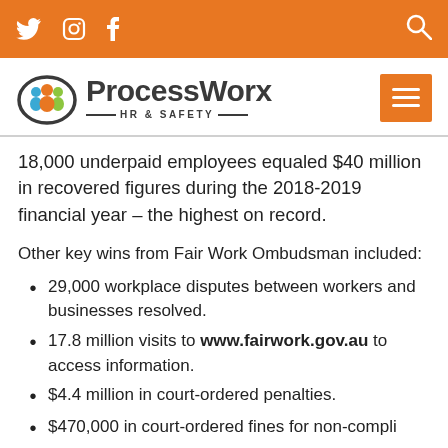ProcessWorx HR & Safety — social navigation bar with Twitter, Instagram, Facebook and search icons
[Figure (logo): ProcessWorx HR & Safety logo with circular icon of three people figures and text 'ProcessWorx HR & SAFETY']
18,000 underpaid employees equaled $40 million in recovered figures during the 2018-2019 financial year – the highest on record.
Other key wins from Fair Work Ombudsman included:
29,000 workplace disputes between workers and businesses resolved.
17.8 million visits to www.fairwork.gov.au to access information.
$4.4 million in court-ordered penalties.
$470,000 in court-ordered fines for non-compliance...